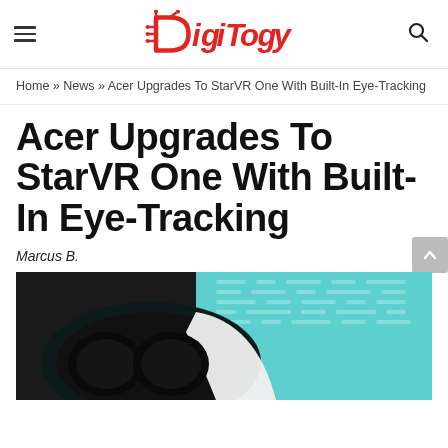Digitogy
Home » News » Acer Upgrades To StarVR One With Built-In Eye-Tracking
Acer Upgrades To StarVR One With Built-In Eye-Tracking
Marcus B.
[Figure (photo): Photo of StarVR One VR headset, showing a close-up of the device against a teal/turquoise background with a dark body and white logo element visible.]